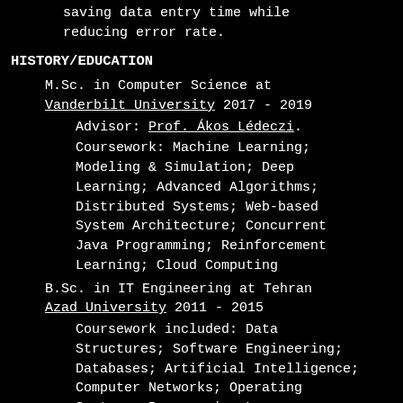saving data entry time while reducing error rate.
HISTORY/EDUCATION
M.Sc. in Computer Science at Vanderbilt University 2017 - 2019
Advisor: Prof. Ákos Lédeczi.
Coursework: Machine Learning; Modeling & Simulation; Deep Learning; Advanced Algorithms; Distributed Systems; Web-based System Architecture; Concurrent Java Programming; Reinforcement Learning; Cloud Computing
B.Sc. in IT Engineering at Tehran Azad University 2011 - 2015
Coursework included: Data Structures; Software Engineering; Databases; Artificial Intelligence; Computer Networks; Operating Systems; Programming Languages;